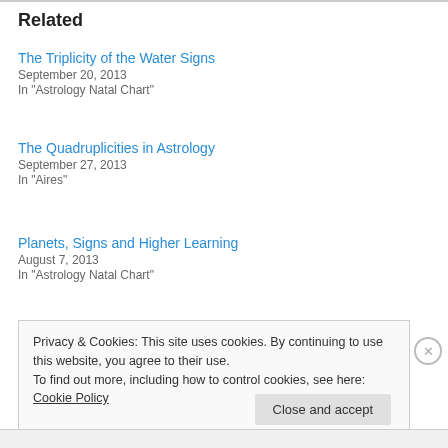Related
The Triplicity of the Water Signs
September 20, 2013
In "Astrology Natal Chart"
The Quadruplicities in Astrology
September 27, 2013
In "Aires"
Planets, Signs and Higher Learning
August 7, 2013
In "Astrology Natal Chart"
Privacy & Cookies: This site uses cookies. By continuing to use this website, you agree to their use.
To find out more, including how to control cookies, see here: Cookie Policy